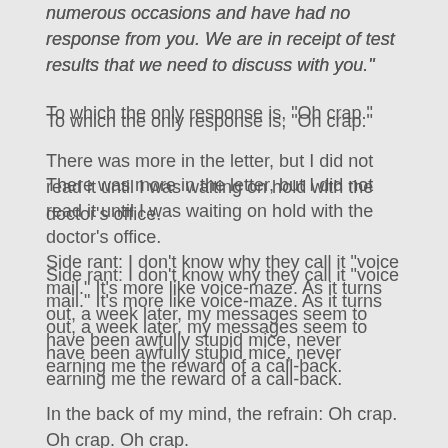numerous occasions and have had no response from you. We are in receipt of test results that we need to discuss with you."
To which the only response is, "Oh crap."
There was more in the letter, but I did not read it until I was waiting on hold with the doctor's office.
Side rant: I don't know why they call it "voice mail." It's more like voice-maze. As it turns out, a week later, my messages seem to have been awfully stupid mice, never earning me the reward of a call-back.
In the back of my mind, the refrain: Oh crap. Oh crap. Oh crap.
I began to grow irritable (default setting, perhaps, but that's another story). I re-read the letter again:
"It is important that we discuss these results and possible further follow-up and/or treatment options available to you. Since we